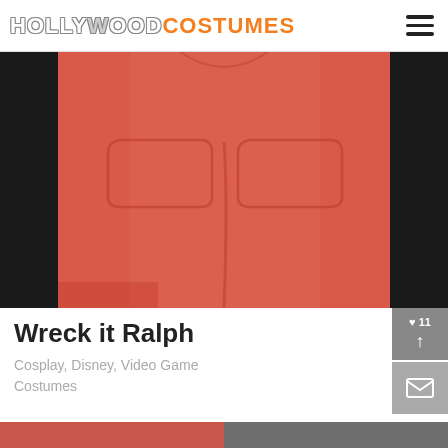HOLLYWOOD COSTUMES
[Figure (photo): Close-up photo of a red/salmon-colored costume or outfit with front pockets, displayed on a hanger against a dark background. This appears to be a Wreck-It Ralph costume.]
Wreck it Ralph
Cosplay, Disney, Video Game Costumes
[Figure (other): Like button showing 11 likes with upward arrow, and a mail/envelope button below it]
[Figure (photo): Bottom strip showing partial images, cropped at bottom of page]